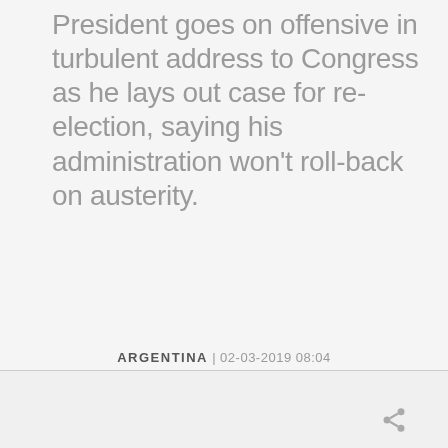President goes on offensive in turbulent address to Congress as he lays out case for re-election, saying his administration won't roll-back on austerity.
ARGENTINA | 02-03-2019 08:04